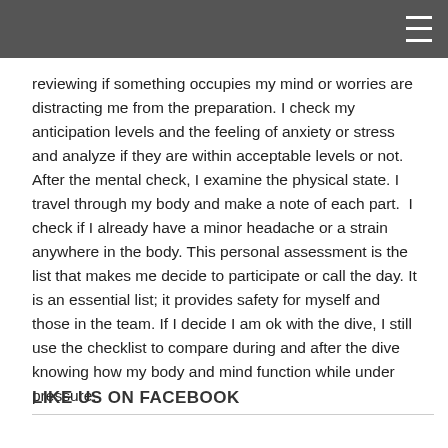reviewing if something occupies my mind or worries are distracting me from the preparation. I check my anticipation levels and the feeling of anxiety or stress and analyze if they are within acceptable levels or not. After the mental check, I examine the physical state. I travel through my body and make a note of each part.  I check if I already have a minor headache or a strain anywhere in the body. This personal assessment is the list that makes me decide to participate or call the day. It is an essential list; it provides safety for myself and those in the team. If I decide I am ok with the dive, I still use the checklist to compare during and after the dive knowing how my body and mind function while under pressure.
LIKE US ON FACEBOOK